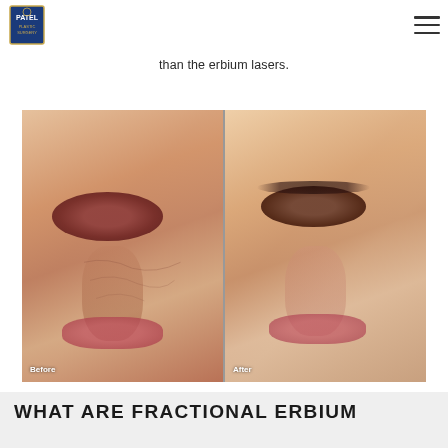Patel Plastic Surgery logo and navigation
nd other scars. The fractional CO2 lasers can treat more deeply, but they also can require more downtime than the erbium lasers.
[Figure (photo): Before and after side-by-side comparison photos of a patient showing skin improvement, with 'Before' label on left and 'After' label on right]
WHAT ARE FRACTIONAL ERBIUM